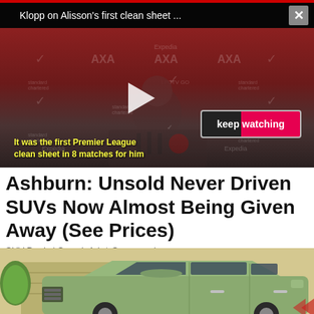[Figure (screenshot): Video player overlay showing Jurgen Klopp at a press conference with Liverpool branded backdrop. Title bar reads 'Klopp on Alisson's first clean sheet ...' with a close button. A play button is centered on the video. A 'keep watching' button appears bottom right. Yellow subtitle text reads 'It was the first Premier League clean sheet in 8 matches for him']
Ashburn: Unsold Never Driven SUVs Now Almost Being Given Away (See Prices)
SUV Deals | Search Ads | Sponsored
[Figure (photo): A green/sage colored pickup truck or SUV parked in front of a building with a topiary bush visible on the left. Back arrow watermark visible bottom right.]